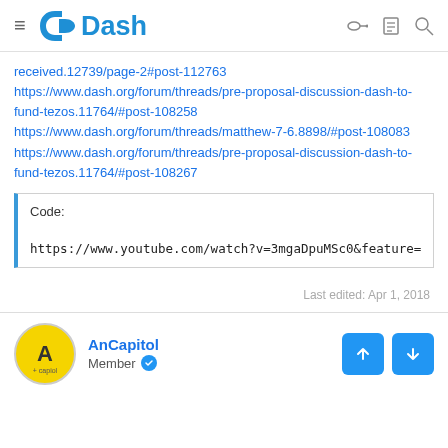Dash
received.12739/page-2#post-112763
https://www.dash.org/forum/threads/pre-proposal-discussion-dash-to-fund-tezos.11764/#post-108258
https://www.dash.org/forum/threads/matthew-7-6.8898/#post-108083
https://www.dash.org/forum/threads/pre-proposal-discussion-dash-to-fund-tezos.11764/#post-108267
Code:
https://www.youtube.com/watch?v=3mgaDpuMSc0&feature=you
Last edited: Apr 1, 2018
AnCapitol
Member